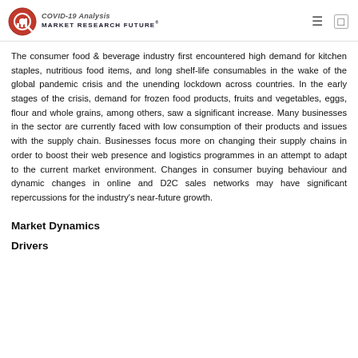COVID-19 Analysis | MARKET RESEARCH FUTURE®
The consumer food & beverage industry first encountered high demand for kitchen staples, nutritious food items, and long shelf-life consumables in the wake of the global pandemic crisis and the unending lockdown across countries. In the early stages of the crisis, demand for frozen food products, fruits and vegetables, eggs, flour and whole grains, among others, saw a significant increase. Many businesses in the sector are currently faced with low consumption of their products and issues with the supply chain. Businesses focus more on changing their supply chains in order to boost their web presence and logistics programmes in an attempt to adapt to the current market environment. Changes in consumer buying behaviour and dynamic changes in online and D2C sales networks may have significant repercussions for the industry's near-future growth.
Market Dynamics
Drivers